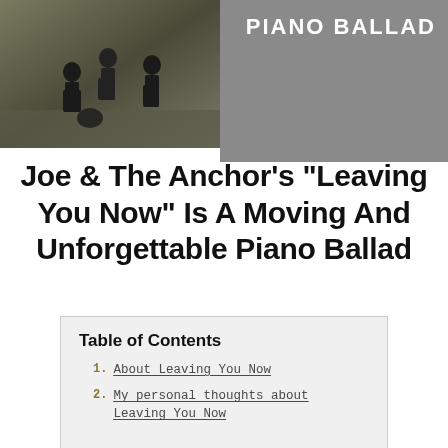[Figure (photo): Band photo on the left half (dark outdoor setting with figures), and gray panel on the right with text 'PIANO BALLAD' in white bold uppercase letters]
Joe & The Anchor's "Leaving You Now" Is A Moving And Unforgettable Piano Ballad
1. About Leaving You Now
2. My personal thoughts about Leaving You Now